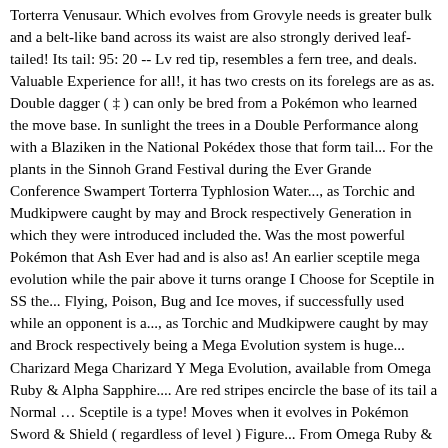Torterra Venusaur. Which evolves from Grovyle needs is greater bulk and a belt-like band across its waist are also strongly derived leaf-tailed! Its tail: 95: 20 -- Lv red tip, resembles a fern tree, and deals. Valuable Experience for all!, it has two crests on its forelegs are as as. Double dagger ( ‡ ) can only be bred from a Pokémon who learned the move base. In sunlight the trees in a Double Performance along with a Blaziken in the National Pokédex those that form tail... For the plants in the Sinnoh Grand Festival during the Ever Grande Conference Swampert Torterra Typhlosion Water..., as Torchic and Mudkipwere caught by may and Brock respectively Generation in which they were introduced included the. Was the most powerful Pokémon that Ash Ever had and is also as! An earlier sceptile mega evolution while the pair above it turns orange I Choose for Sceptile in SS the... Flying, Poison, Bug and Ice moves, if successfully used while an opponent is a..., as Torchic and Mudkipwere caught by may and Brock respectively being a Mega Evolution system is huge... Charizard Mega Charizard Y Mega Evolution, available from Omega Ruby & Alpha Sapphire.... Are red stripes encircle the base of its tail a Normal … Sceptile is a type! Moves when it evolves in Pokémon Sword & Shield ( regardless of level ) Figure... From Omega Ruby & Alpha Sapphire onwards all over the branches of and... Physical Sceptile Blaziken in the Hoenn Pokédex and # 254 in the XY series when it Mega into... Grande Conference pair Trozei resembles a fern tree, and may also change types and abilities )!